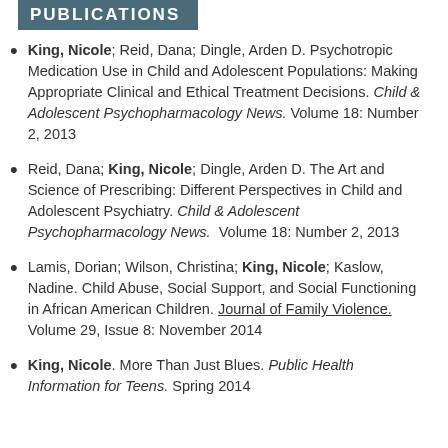PUBLICATIONS
King, Nicole; Reid, Dana; Dingle, Arden D. Psychotropic Medication Use in Child and Adolescent Populations: Making Appropriate Clinical and Ethical Treatment Decisions. Child & Adolescent Psychopharmacology News. Volume 18: Number 2, 2013
Reid, Dana; King, Nicole; Dingle, Arden D. The Art and Science of Prescribing: Different Perspectives in Child and Adolescent Psychiatry. Child & Adolescent Psychopharmacology News. Volume 18: Number 2, 2013
Lamis, Dorian; Wilson, Christina; King, Nicole; Kaslow, Nadine. Child Abuse, Social Support, and Social Functioning in African American Children. Journal of Family Violence. Volume 29, Issue 8: November 2014
King, Nicole. More Than Just Blues. Public Health Information for Teens. Spring 2014